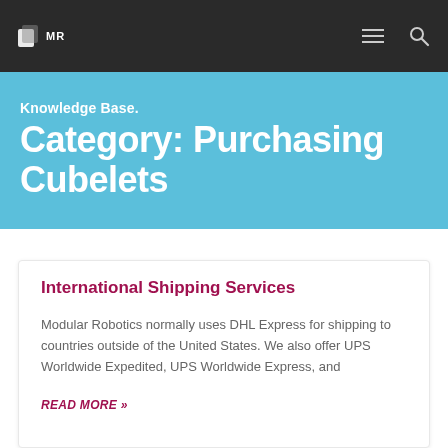MR (logo) — navigation bar with hamburger menu and search icon
Knowledge Base.
Category: Purchasing Cubelets
International Shipping Services
Modular Robotics normally uses DHL Express for shipping to countries outside of the United States. We also offer UPS Worldwide Expedited, UPS Worldwide Express, and
READ MORE »